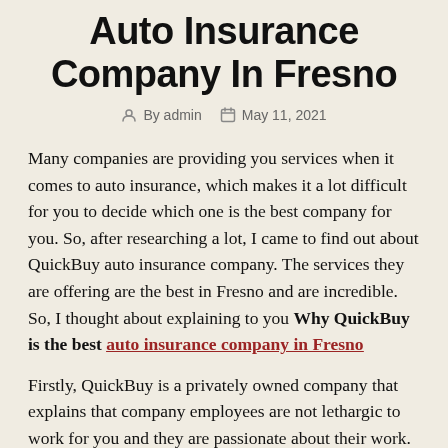Auto Insurance Company In Fresno
By admin   May 11, 2021
Many companies are providing you services when it comes to auto insurance, which makes it a lot difficult for you to decide which one is the best company for you. So, after researching a lot, I came to find out about QuickBuy auto insurance company. The services they are offering are the best in Fresno and are incredible. So, I thought about explaining to you Why QuickBuy is the best auto insurance company in Fresno
Firstly, QuickBuy is a privately owned company that explains that company employees are not lethargic to work for you and they are passionate about their work.